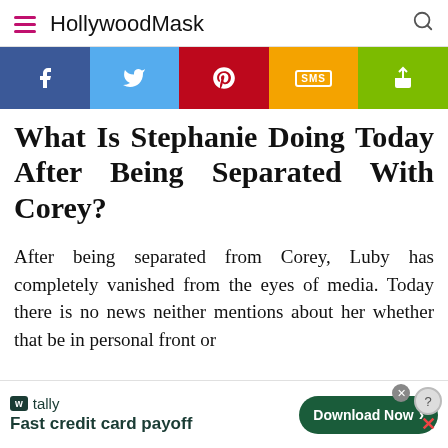HollywoodMask
[Figure (infographic): Social sharing bar with Facebook, Twitter, Pinterest, SMS, and Share buttons in colored sections]
What Is Stephanie Doing Today After Being Separated With Corey?
After being separated from Corey, Luby has completely vanished from the eyes of media. Today there is no news neither mentions about her whether that be in personal front or
[Figure (infographic): Tally advertisement banner: Fast credit card payoff with Download Now button]